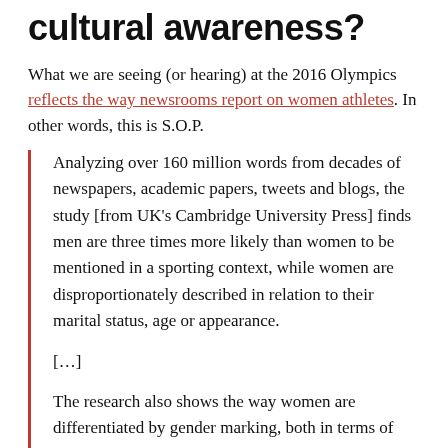cultural awareness?
What we are seeing (or hearing) at the 2016 Olympics reflects the way newsrooms report on women athletes. In other words, this is S.O.P.
Analyzing over 160 million words from decades of newspapers, academic papers, tweets and blogs, the study [from UK's Cambridge University Press] finds men are three times more likely than women to be mentioned in a sporting context, while women are disproportionately described in relation to their marital status, age or appearance.
[…]
The research also shows the way women are differentiated by gender marking, both in terms of naming the sport itself (Wimbledon ladies' singles)